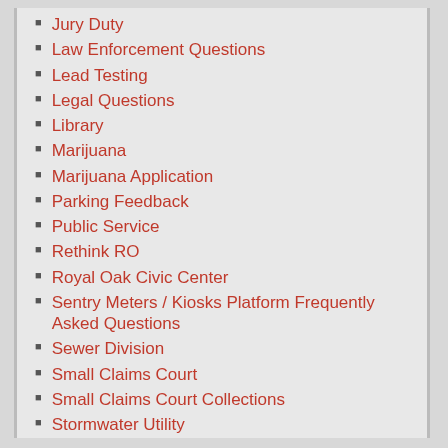Jury Duty
Law Enforcement Questions
Lead Testing
Legal Questions
Library
Marijuana
Marijuana Application
Parking Feedback
Public Service
Rethink RO
Royal Oak Civic Center
Sentry Meters / Kiosks Platform Frequently Asked Questions
Sewer Division
Small Claims Court
Small Claims Court Collections
Stormwater Utility
Sustainability
Treasurer
Water Billing Department
Water Maintenance & Service
Water Service Cross Connection